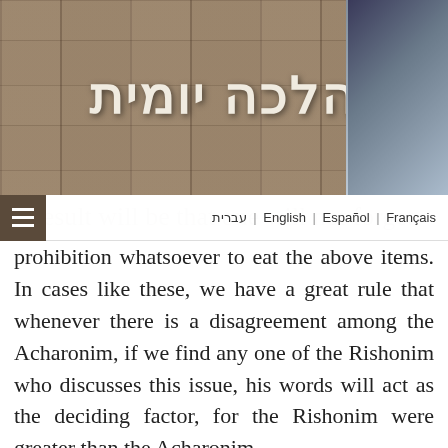[Figure (photo): Header banner showing stone wall background with Hebrew text 'הלכה יומית' and a rabbi photo on the right]
עברית | English | Español | Français
result will be that one will not forget anything at all. Thus, others write that there is no prohibition whatsoever to eat the above items. In cases like these, we have a great rule that whenever there is a disagreement among the Acharonim, if we find any one of the Rishonim who discusses this issue, his words will act as the deciding factor, for the Rishonim were greater than the Acharonim.
Indeed, Rabbeinu Yehuda Ha'Chassid (one of the great Rishonim) writes as follows in his Sefer Chassidim: "An individual...